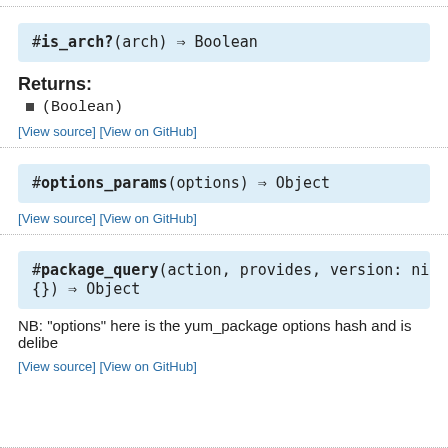#is_arch?(arch) ⇒ Boolean
Returns:
(Boolean)
[View source] [View on GitHub]
#options_params(options) ⇒ Object
[View source] [View on GitHub]
#package_query(action, provides, version: nil, ar
{}) ⇒ Object
NB: "options" here is the yum_package options hash and is delibe
[View source] [View on GitHub]